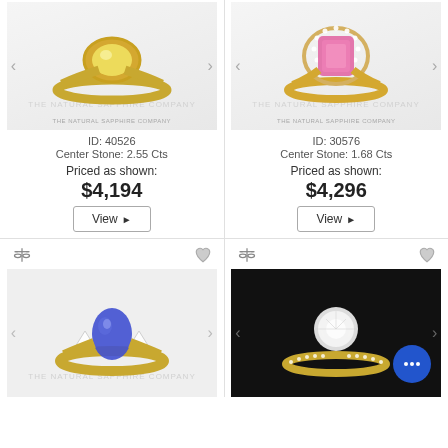[Figure (photo): Yellow sapphire ring with oval center stone in yellow gold bezel setting on gray background]
ID: 40526
Center Stone: 2.55 Cts
Priced as shown:
$4,194
[Figure (photo): Pink sapphire ring with cushion-cut center stone in halo diamond setting on gray background]
ID: 30576
Center Stone: 1.68 Cts
Priced as shown:
$4,296
[Figure (photo): Blue sapphire oval ring with triangle side stones in yellow gold three-stone setting]
[Figure (photo): Diamond ring with round center stone in yellow gold pave band, black background, with chat widget overlay]